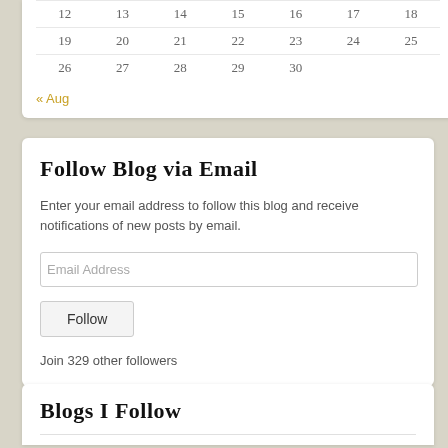| Sun | Mon | Tue | Wed | Thu | Fri | Sat |
| --- | --- | --- | --- | --- | --- | --- |
| 12 | 13 | 14 | 15 | 16 | 17 | 18 |
| 19 | 20 | 21 | 22 | 23 | 24 | 25 |
| 26 | 27 | 28 | 29 | 30 |  |  |
« Aug
Follow Blog via Email
Enter your email address to follow this blog and receive notifications of new posts by email.
Email Address
Follow
Join 329 other followers
Blogs I Follow